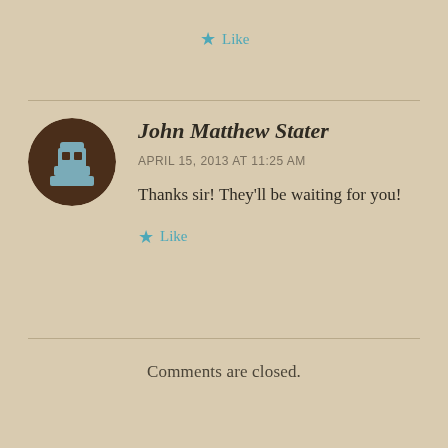Like
[Figure (illustration): Circular avatar with brown background showing a stylized chess piece icon in blue/grey tones]
John Matthew Stater
APRIL 15, 2013 AT 11:25 AM
Thanks sir! They'll be waiting for you!
Like
Comments are closed.